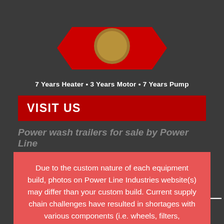[Figure (logo): Power Line Industries logo with red ribbon/star design and gold circular emblem in center]
7 Years Heater • 3 Years Motor • 7 Years Pump
VISIT US
Power wash trailers for sale by Power Line
Due to the custom nature of each equipment build, photos on Power Line Industries website(s) may differ than your custom build. Current supply chain challenges have resulted in shortages with various components (i.e. wheels, filters, generators, etc). Options will vary.